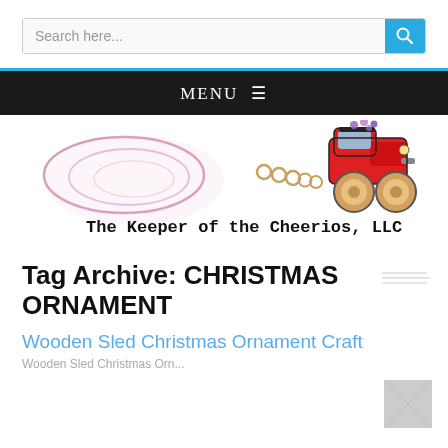Search here...
MENU
[Figure (logo): The Keeper of the Cheerios, LLC logo with a red monster truck pulling cheerios and a spiral design]
Tag Archive: CHRISTMAS ORNAMENT
Wooden Sled Christmas Ornament Craft
Wooden Sled Christmas Orn...